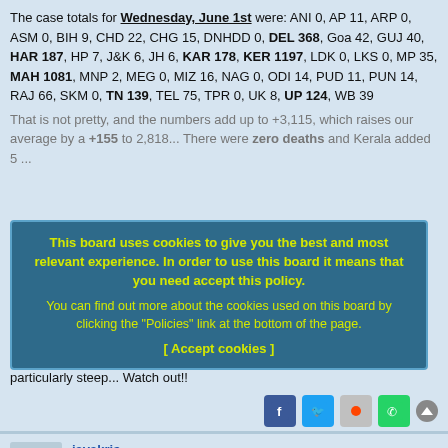The case totals for Wednesday, June 1st were: ANI 0, AP 11, ARP 0, ASM 0, BIH 9, CHD 22, CHG 15, DNHDD 0, DEL 368, Goa 42, GUJ 40, HAR 187, HP 7, J&K 6, JH 6, KAR 178, KER 1197, LDK 0, LKS 0, MP 35, MAH 1081, MNP 2, MEG 0, MIZ 16, NAG 0, ODI 14, PUD 11, PUN 14, RAJ 66, SKM 0, TN 139, TEL 75, TPR 0, UK 8, UP 124, WB 39
That is not pretty, and the numbers add up to +3,115, which raises our average by a +155 to 2,818... There were zero deaths and Kerala added 5 ...
Both Kerala and Maharashtra went over 1000, with the MAH rise being particularly steep... Watch out!!
[Figure (other): Cookie consent overlay: 'This board uses cookies to give you the best and most relevant experience. In order to use this board it means that you need accept this policy. You can find out more about the cookies used on this board by clicking the Policies link at the bottom of the page. [ Accept cookies ]']
jayakris
Moderators
Re: Coronavirus SARS-Cov2 (COVID-19)
Fri Jun 03, 2022 10:59 am
The state-wise numbers for Thursday, June 2nd were: ANI 1, AP 14, ARP 2, ASM 3, BIH 6, CHD 20, CHG 8, DNHDD 0, DEL 373, Goa 47, GUJ 50, HAR 188, HP 13, J&K 7, JH 11, KAR 297, KER 1370, LDK 1, LKS 0, MP 25, MAH 1045, MNP 1, MEG 0, MIZ 16, NAG 0, ODI 11, PUD